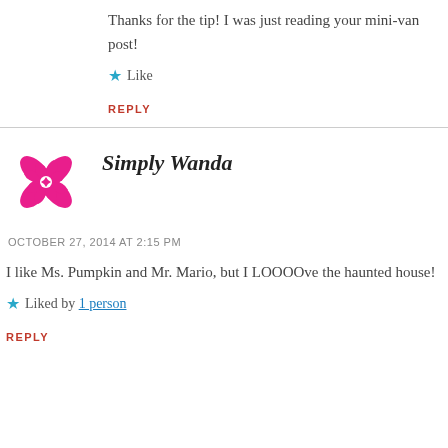Thanks for the tip! I was just reading your mini-van post!
Like
REPLY
Simply Wanda
OCTOBER 27, 2014 AT 2:15 PM
I like Ms. Pumpkin and Mr. Mario, but I LOOOOve the haunted house!
Liked by 1 person
REPLY